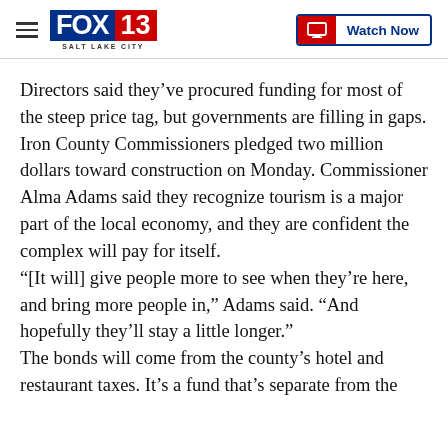FOX 13 SALT LAKE CITY — Watch Now
Directors said they've procured funding for most of the steep price tag, but governments are filling in gaps. Iron County Commissioners pledged two million dollars toward construction on Monday. Commissioner Alma Adams said they recognize tourism is a major part of the local economy, and they are confident the complex will pay for itself.
“[It will] give people more to see when they’re here, and bring more people in,” Adams said. “And hopefully they’ll stay a little longer.”
The bonds will come from the county’s hotel and restaurant taxes. It’s a fund that’s separate from the